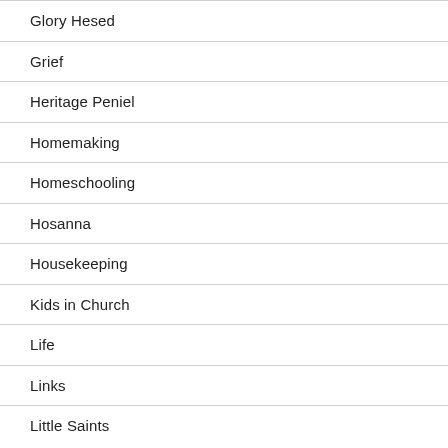Glory Hesed
Grief
Heritage Peniel
Homemaking
Homeschooling
Hosanna
Housekeeping
Kids in Church
Life
Links
Little Saints